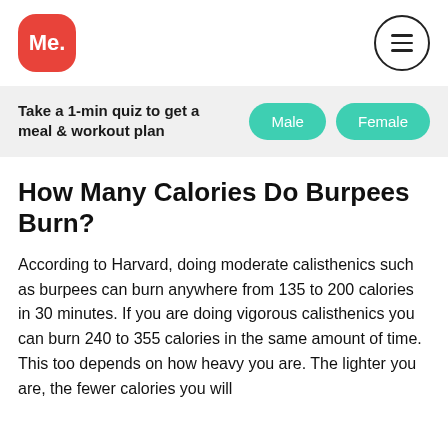[Figure (logo): Me. logo — red rounded square with white bold text 'Me.']
[Figure (other): Hamburger menu icon inside a circle]
Take a 1-min quiz to get a meal & workout plan
[Figure (other): Male button — teal rounded pill button with white text 'Male']
[Figure (other): Female button — teal rounded pill button with white text 'Female']
How Many Calories Do Burpees Burn?
According to Harvard, doing moderate calisthenics such as burpees can burn anywhere from 135 to 200 calories in 30 minutes. If you are doing vigorous calisthenics you can burn 240 to 355 calories in the same amount of time. This too depends on how heavy you are. The lighter you are, the fewer calories you will